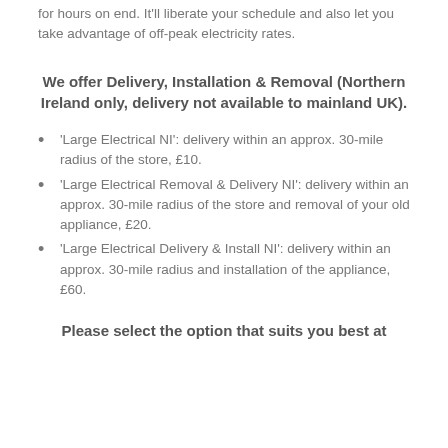for hours on end. It'll liberate your schedule and also let you take advantage of off-peak electricity rates.
We offer Delivery, Installation & Removal (Northern Ireland only, delivery not available to mainland UK).
'Large Electrical NI': delivery within an approx. 30-mile radius of the store, £10.
'Large Electrical Removal & Delivery NI': delivery within an approx. 30-mile radius of the store and removal of your old appliance, £20.
'Large Electrical Delivery & Install NI': delivery within an approx. 30-mile radius and installation of the appliance, £60.
Please select the option that suits you best at